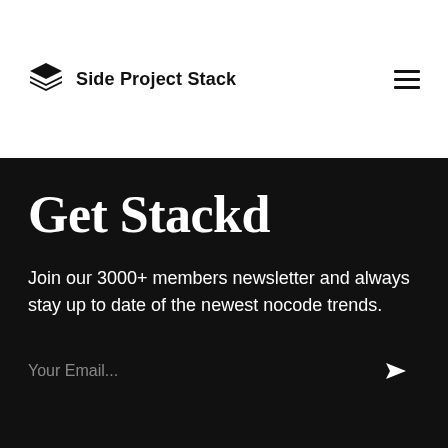Side Project Stack
Get Stackd
Join our 3000+ members newsletter and always stay up to date of the newest nocode trends.
Your Email...